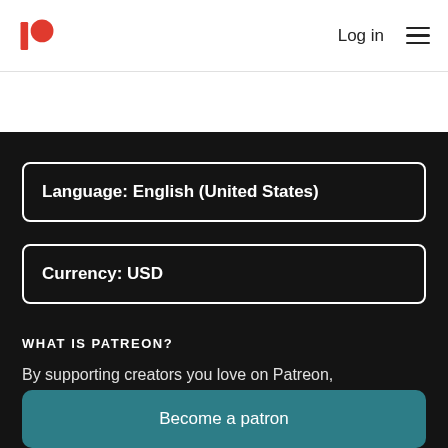Log in
Language: English (United States)
Currency: USD
WHAT IS PATREON?
By supporting creators you love on Patreon,
Become a patron